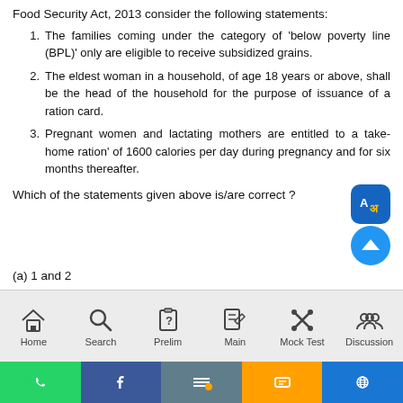Food Security Act, 2013 consider the following statements:
1. The families coming under the category of 'below poverty line (BPL)' only are eligible to receive subsidized grains.
2. The eldest woman in a household, of age 18 years or above, shall be the head of the household for the purpose of issuance of a ration card.
3. Pregnant women and lactating mothers are entitled to a take-home ration' of 1600 calories per day during pregnancy and for six months thereafter.
Which of the statements given above is/are correct ?
(a) 1 and 2
(b) 2 only
(c) 1 and 3
Home  Search  Prelim  Main  Mock Test  Discussion